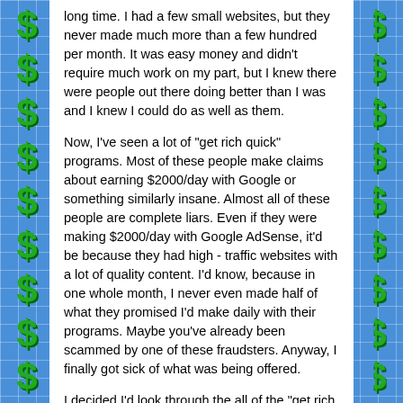long time. I had a few small websites, but they never made much more than a few hundred per month. It was easy money and didn't require much work on my part, but I knew there were people out there doing better than I was and I knew I could do as well as them.
Now, I've seen a lot of "get rich quick" programs. Most of these people make claims about earning $2000/day with Google or something similarly insane. Almost all of these people are complete liars. Even if they were making $2000/day with Google AdSense, it'd be because they had high - traffic websites with a lot of quality content. I'd know, because in one whole month, I never even made half of what they promised I'd make daily with their programs. Maybe you've already been scammed by one of these fraudsters. Anyway, I finally got sick of what was being offered.
I decided I'd look through the all of the "get rich quick" programs I could find and see if there were any that were actually legitimate. I found that there were owners selling